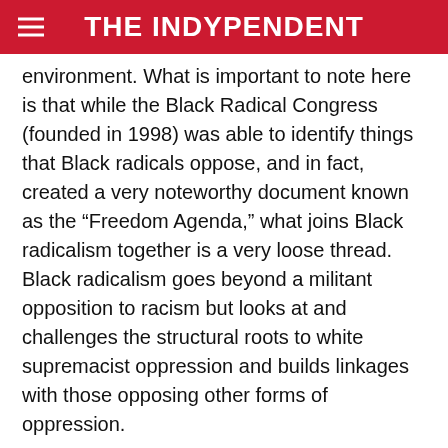THE INDYPENDENT
environment. What is important to note here is that while the Black Radical Congress (founded in 1998) was able to identify things that Black radicals oppose, and in fact, created a very noteworthy document known as the “Freedom Agenda,” what joins Black radicalism together is a very loose thread. Black radicalism goes beyond a militant opposition to racism but looks at and challenges the structural roots to white supremacist oppression and builds linkages with those opposing other forms of oppression.
Today’s Black radicalism suffers from, among other things, an insufficient number of organizations that have achieved a critical mass in order to exert a